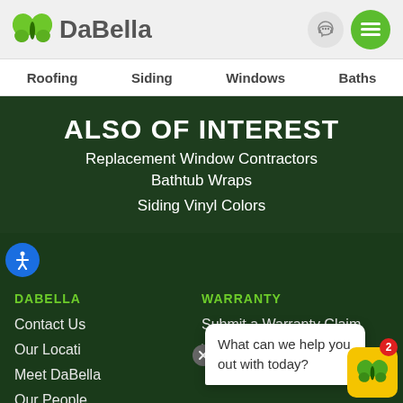[Figure (logo): DaBella logo with green butterfly icon and gray bold text 'DaBella', plus headphone icon and green hamburger menu icon]
Roofing  Siding  Windows  Baths
ALSO OF INTEREST
Replacement Window Contractors
Bathtub Wraps
Siding Vinyl Colors
DABELLA
WARRANTY
Contact Us
Submit a Warranty Claim
Our Locations
Meet DaBella
Our People
Windows Warranties
What can we help you out with today?